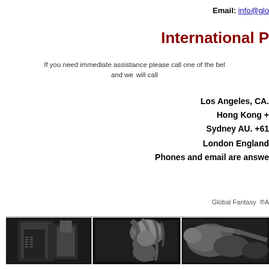Email: info@glo...
International P...
If you need immediate assistance please call one of the bel... and we will call...
Los Angeles, CA...
Hong Kong +...
Sydney AU. +61...
London England...
Phones and email are answe...
Global Fantasy ®A...
[Figure (photo): Three black and white photos side by side showing artistic figure photography]